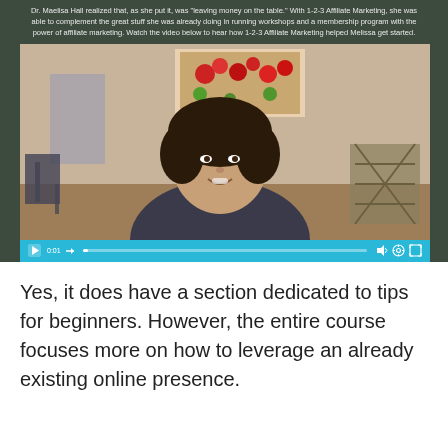Dr. Maelisa Hall realized that, as she put it, was "leaving money on the table." With 1-2-3 Affiliate Marketing, she was able to complement the great stuff she was already doing in running workshops and a membership program with the power of affiliate marketing. Watch the video below to hear how 1-2-3 Affiliate Marketing helped Melissa get started.
[Figure (screenshot): Embedded video player showing a woman with curly dark hair smiling, seated in a room with a red floral painting on the wall behind her. Video player controls show paused state at 0:01 with a cyan/blue control bar.]
Yes, it does have a section dedicated to tips for beginners. However, the entire course focuses more on how to leverage an already existing online presence.